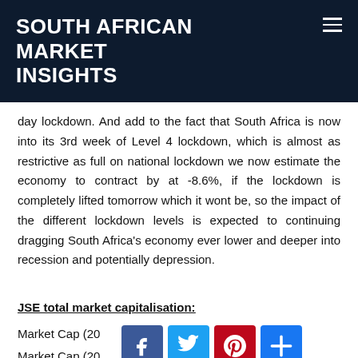SOUTH AFRICAN MARKET INSIGHTS
day lockdown. And add to the fact that South Africa is now into its 3rd week of Level 4 lockdown, which is almost as restrictive as full on national lockdown we now estimate the economy to contract by at -8.6%, if the lockdown is completely lifted tomorrow which it wont be, so the impact of the different lockdown levels is expected to continuing dragging South Africa's economy ever lower and deeper into recession and potentially depression.
JSE total market capitalisation:
Market Cap (20
Market Cap (20